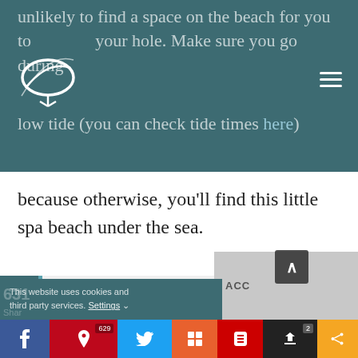unlikely to find a space on the beach for you to dig your hole. Make sure you go during low tide (you can check tide times here)
because otherwise, you'll find this little spa beach under the sea.
Planning a trip to Wai-O-Tapi? Read THIS before you go and find out if it's worth the money!
This website uses cookies and third party services. Settings
631 Share | Facebook | Pinterest 629 | Twitter | Mix | Flipboard | Buffer 2 | Share